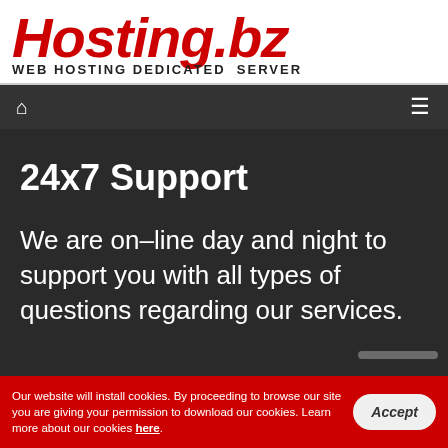[Figure (logo): Hosting.bz logo with red italic bold text and subtitle 'WEB HOSTING DEDICATED SERVER']
Navigation bar with home icon and hamburger menu
24x7 Support
We are on–line day and night to support you with all types of questions regarding our services.
Our website will install cookies. By proceeding to browse our site you are giving your permission to download our cookies. Learn more about our cookies here.